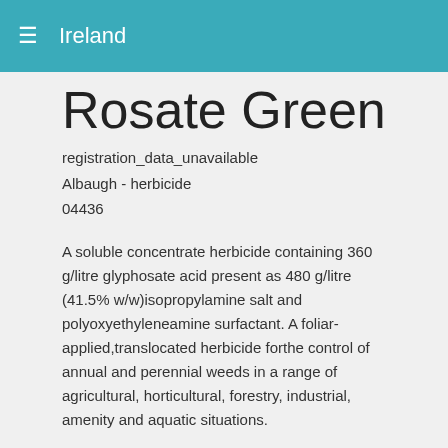Ireland
Rosate Green
registration_data_unavailable
Albaugh - herbicide
04436
A soluble concentrate herbicide containing 360 g/litre glyphosate acid present as 480 g/litre (41.5% w/w)isopropylamine salt and polyoxyethyleneamine surfactant. A foliar-applied,translocated herbicide forthe control of annual and perennial weeds in a range of agricultural, horticultural, forestry, industrial, amenity and aquatic situations.
DIRECTIONS FOR USE
IMPORTANT: This information is approved as part of the Product Label. All instructions within this section must be read